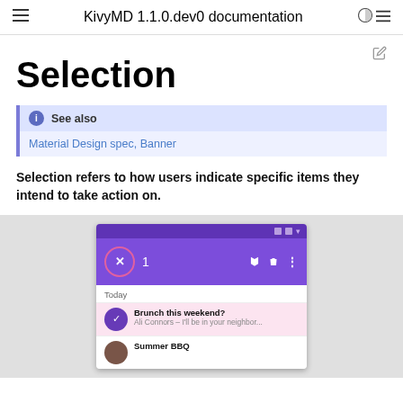KivyMD 1.1.0.dev0 documentation
Selection
See also
Material Design spec, Banner
Selection refers to how users indicate specific items they intend to take action on.
[Figure (screenshot): Mobile app screenshot showing a selection toolbar in purple with a close (X) button, count '1', flag icon, trash icon, and more options icon. Below is an email list showing 'Today' header, a selected item 'Brunch this weekend?' from Ali Connors with preview text, and a 'Summer BBQ' item partially visible.]